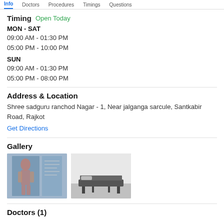Info | Doctors | Procedures | Timings | Questions
Timing Open Today
MON - SAT
09:00 AM - 01:30 PM
05:00 PM - 10:00 PM
SUN
09:00 AM - 01:30 PM
05:00 PM - 08:00 PM
Address & Location
Shree sadguru ranchod Nagar - 1, Near jalganga sarcule, Santkabir Road, Rajkot
Get Directions
Gallery
[Figure (photo): Medical clinic interior showing anatomy chart on glass partition]
[Figure (photo): Medical clinic room with examination table/bed]
Doctors (1)